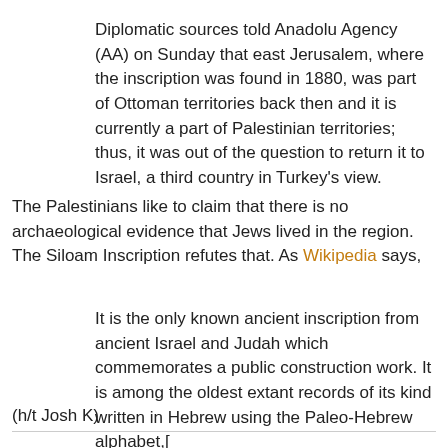Diplomatic sources told Anadolu Agency (AA) on Sunday that east Jerusalem, where the inscription was found in 1880, was part of Ottoman territories back then and it is currently a part of Palestinian territories; thus, it was out of the question to return it to Israel, a third country in Turkey's view.
The Palestinians like to claim that there is no archaeological evidence that Jews lived in the region. The Siloam Inscription refutes that. As Wikipedia says,
It is the only known ancient inscription from ancient Israel and Judah which commemorates a public construction work. It is among the oldest extant records of its kind written in Hebrew using the Paleo-Hebrew alphabet,[
(h/t Josh K)